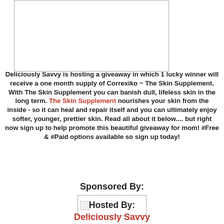[Figure (other): Blank image placeholder box with border]
Deliciously Savvy is hosting a giveaway in which 1 lucky winner will receive a one month supply of Correxiko ~ The Skin Supplement. With The Skin Supplement you can banish dull, lifeless skin in the long term. The Skin Supplement nourishes your skin from the inside - so it can heal and repair itself and you can ultimately enjoy softer, younger, prettier skin. Read all about it below.... but right now sign up to help promote this beautiful giveaway for mom! #Free & #Paid options available so sign up today!
Sponsored By:
[Figure (other): Sponsor image placeholder (broken image icon)]
Hosted By:
Deliciously Savvy